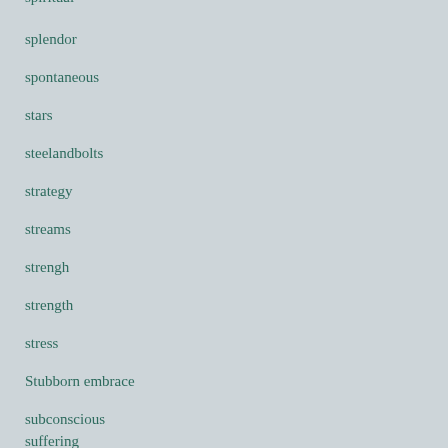spiritual
splendor
spontaneous
stars
steelandbolts
strategy
streams
strengh
strength
stress
Stubborn embrace
subconscious
suffering